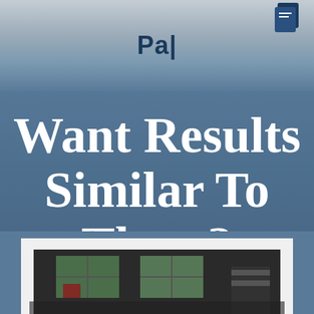Pa|
Want Results Similar To These?
[Figure (photo): Bottom portion of a garage with white door trim, dark interior visible, and windows showing trees/foliage in background]